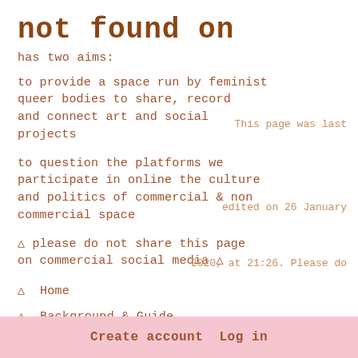not found on
has two aims:
to provide a space run by feminist queer bodies to share, record and connect art and social projects
to question the platforms we participate in online the culture and politics of commercial & non commercial space
△ please do not share this page on commercial social media △
△  Home
△  Background & Guide
△  Find & Add Events
△  Recommendations
This page was last
edited on 26 January
2020, at 21:26. Please do
not share this page on
Create account  Log in